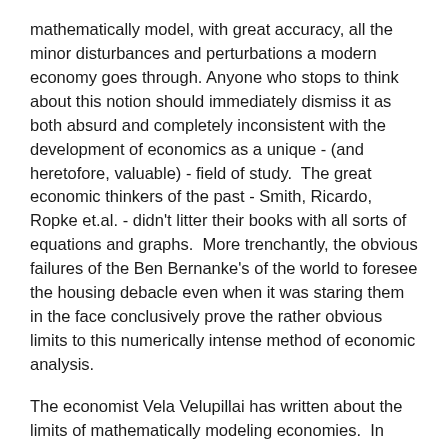mathematically model, with great accuracy, all the minor disturbances and perturbations a modern economy goes through. Anyone who stops to think about this notion should immediately dismiss it as both absurd and completely inconsistent with the development of economics as a unique - (and heretofore, valuable) - field of study. The great economic thinkers of the past - Smith, Ricardo, Ropke et.al. - didn't litter their books with all sorts of equations and graphs. More trenchantly, the obvious failures of the Ben Bernanke's of the world to foresee the housing debacle even when it was staring them in the face conclusively prove the rather obvious limits to this numerically intense method of economic analysis.
The economist Vela Velupillai has written about the limits of mathematically modeling economies. In Computable Foundations for Economics, Velupillai contrasts the success of classical economics to provide useful insights into economic behavior with the 'pseudo-numerical phantoms' created by the Ben Bernanke's of the world; "....All this forgets, of course that perfectly sensible quantitative